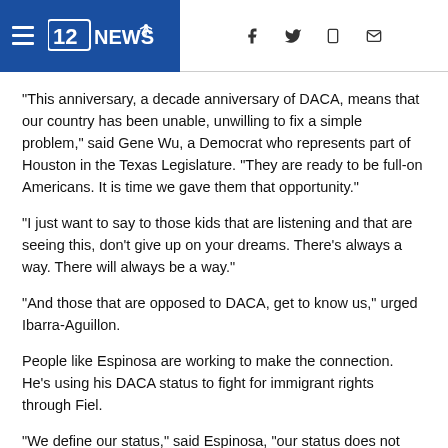12NEWS
“This anniversary, a decade anniversary of DACA, means that our country has been unable, unwilling to fix a simple problem,” said Gene Wu, a Democrat who represents part of Houston in the Texas Legislature. “They are ready to be full-on Americans. It is time we gave them that opportunity.”
“I just want to say to those kids that are listening and that are seeing this, don’t give up on your dreams. There’s always a way. There will always be a way.”
“And those that are opposed to DACA, get to know us,” urged Ibarra-Aguillon.
People like Espinosa are working to make the connection. He’s using his DACA status to fight for immigrant rights through Fiel.
“We define our status,” said Espinosa, “our status does not define us.”